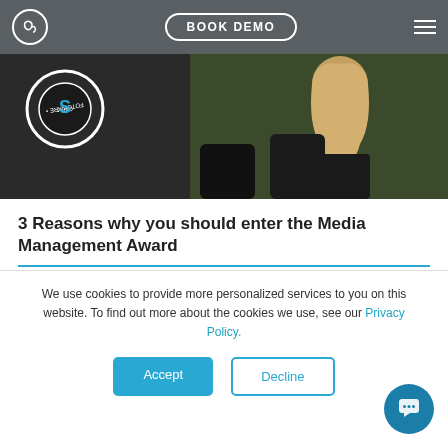BOOK DEMO
[Figure (photo): Dark photo of a woman smiling with a FotoWare Media badge overlay in the top-left corner]
3 Reasons why you should enter the Media Management Award
( read 3 min)
We use cookies to provide more personalized services to you on this website. To find out more about the cookies we use, see our Privacy Policy.
Accept | Decline